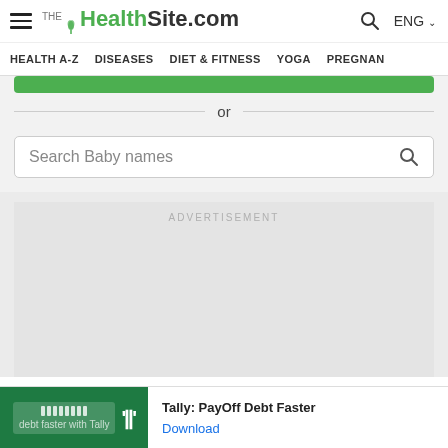THE HealthSite.com | ENG
HEALTH A-Z   DISEASES   DIET & FITNESS   YOGA   PREGNAN
or
Search Baby names
ADVERTISEMENT
Tally: PayOff Debt Faster Download